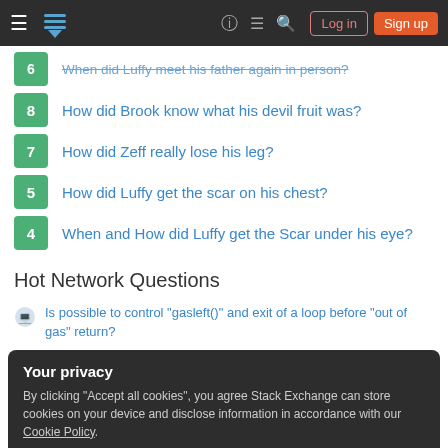Stack Exchange navigation header with Log in and Sign up buttons
When did Luffy meet his father again in person? (score: 6, partially visible at top)
8 — How did Brook know what his devil fruit was?
7 — How did Zeff really lose his leg?
5 — How did Luffy get the scar on his chest?
4 — When and How did Luffy get the Scar under his eye?
Hot Network Questions
Is possible to control "gasleft()" and exit of a loop before "out of gas" return?
Your privacy — By clicking "Accept all cookies", you agree Stack Exchange can store cookies on your device and disclose information in accordance with our Cookie Policy.